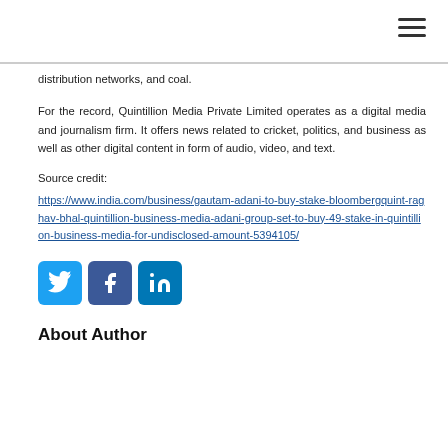distribution networks, and coal.
For the record, Quintillion Media Private Limited operates as a digital media and journalism firm. It offers news related to cricket, politics, and business as well as other digital content in form of audio, video, and text.
Source credit:
https://www.india.com/business/gautam-adani-to-buy-stake-bloombergquint-raghav-bhal-quintillion-business-media-adani-group-set-to-buy-49-stake-in-quintillion-business-media-for-undisclosed-amount-5394105/
[Figure (illustration): Three social media share icons: Twitter (blue bird), Facebook (blue f), LinkedIn (blue in)]
About Author